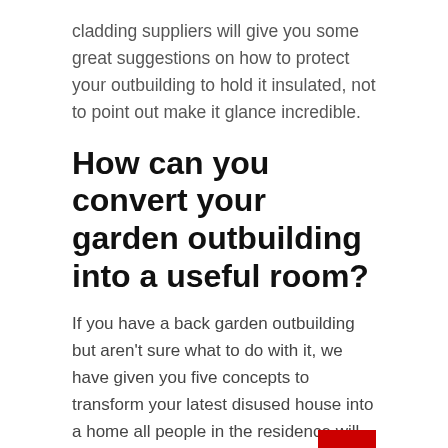cladding suppliers will give you some great suggestions on how to protect your outbuilding to hold it insulated, not to point out make it glance incredible.
How can you convert your garden outbuilding into a useful room?
If you have a back garden outbuilding but aren't sure what to do with it, we have given you five concepts to transform your latest disused house into a home all people in the residence will want to shell out time in.
Convert your outbuilding into a dwelling gym
Health and fitness center memberships are so high priced, so why spend for an exterior fitness center when